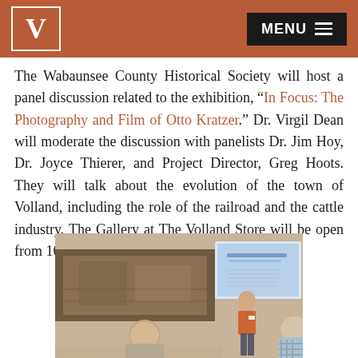V | MENU
The Wabaunsee County Historical Society will host a panel discussion related to the exhibition, “In Focus: The Photography and Film of Otto Kratzer.” Dr. Virgil Dean will moderate the discussion with panelists Dr. Jim Hoy, Dr. Joyce Thierer, and Project Director, Greg Hoots. They will talk about the evolution of the town of Volland, including the role of the railroad and the cattle industry. The Gallery at The Volland Store will be open from 10 a.m. until 5 p.m.
[Figure (photo): Indoor panel discussion scene: a man in an orange shirt stands at a presentation screen showing a slide, while two audience members seated with backs to camera listen. A large historical photograph is mounted on the wall behind him.]